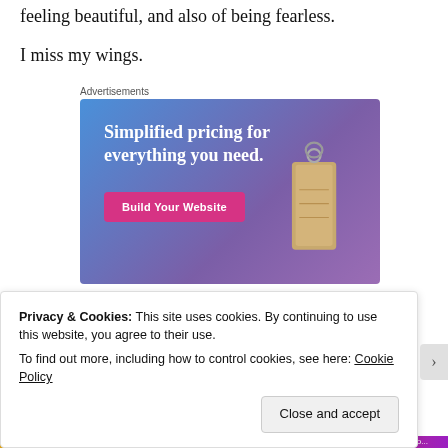feeling beautiful, and also of being fearless.
I miss my wings.
Advertisements
[Figure (illustration): Advertisement banner with blue-to-purple gradient background. Text reads 'Simplified pricing for everything you need.' with a pink 'Build Your Website' button and a tan price tag graphic on the right.]
Privacy & Cookies: This site uses cookies. By continuing to use this website, you agree to their use.
To find out more, including how to control cookies, see here: Cookie Policy
Close and accept